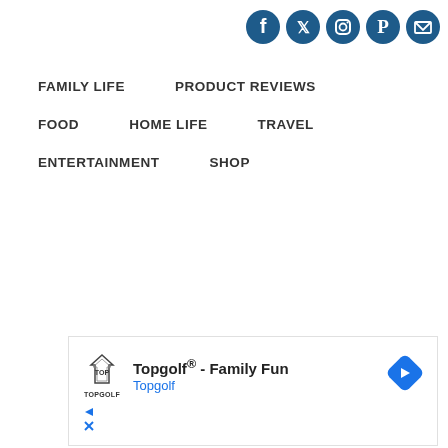Social media icons: Facebook, Twitter, Instagram, Pinterest, Email
FAMILY LIFE
PRODUCT REVIEWS
FOOD
HOME LIFE
TRAVEL
ENTERTAINMENT
SHOP
[Figure (screenshot): Advertisement for Topgolf® - Family Fun by Topgolf, with Topgolf logo and navigation arrow icon]